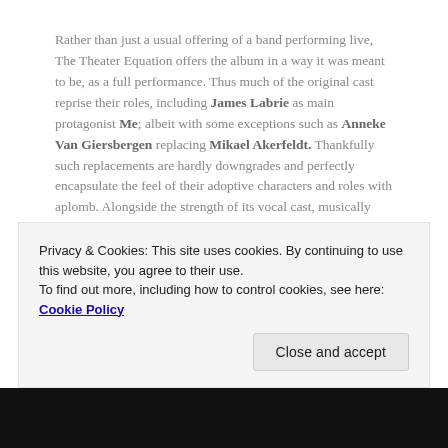Rather than just a usual offering of a band performing live, The Theater Equation offers the album in a way it was meant to be, as a full performance. Thus much of the original cast reprise their roles, including James Labrie as main protagonist Me; albeit with some exceptions such as Anneke Van Giersbergen replacing Mikael Akerfeldt. Thankfully such replacements are hardly downgrades and perfectly encapsulate the feel of their adoptive characters and roles with aplomb. Alongside the strength of its vocal cast, musically this strikes an impressive balance between studio album quality and consistency with the feel and energy of the live arena. Together these
Privacy & Cookies: This site uses cookies. By continuing to use this website, you agree to their use.
To find out more, including how to control cookies, see here: Cookie Policy
Close and accept